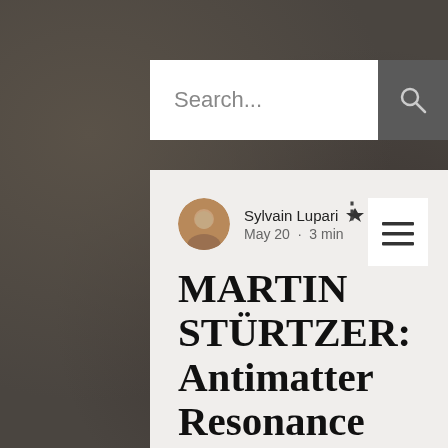[Figure (screenshot): Dark textured stone background occupying the full page]
Search...
MARTIN STÜRTZER: Antimatter Resonance (2022)
Sylvain Lupari May 20 · 3 min
“A good blend of deep ambient space EM with a good sequencer à la Berlin School”